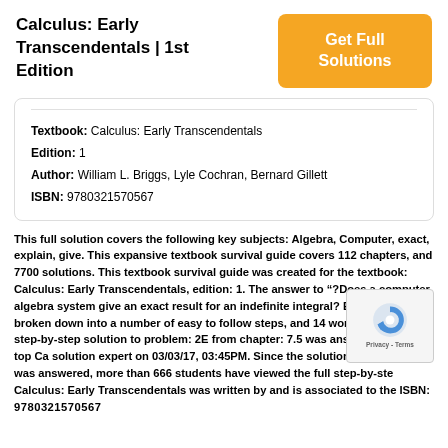Calculus: Early Transcendentals | 1st Edition
Get Full Solutions
| Textbook: Calculus: Early Transcendentals |
| Edition: 1 |
| Author: William L. Briggs, Lyle Cochran, Bernard Gillett |
| ISBN: 9780321570567 |
This full solution covers the following key subjects: Algebra, Computer, exact, explain, give. This expansive textbook survival guide covers 112 chapters, and 7700 solutions. This textbook survival guide was created for the textbook: Calculus: Early Transcendentals, edition: 1. The answer to “?Does a computer algebra system give an exact result for an indefinite integral? Explain.” is broken down into a number of easy to follow steps, and 14 words. The full step-by-step solution to problem: 2E from chapter: 7.5 was answered by , our top Calculus solution expert on 03/03/17, 03:45PM. Since the solution to 2E from 7.5 was answered, more than 666 students have viewed the full step-by-step Calculus: Early Transcendentals was written by and is associated to the ISBN: 9780321570567